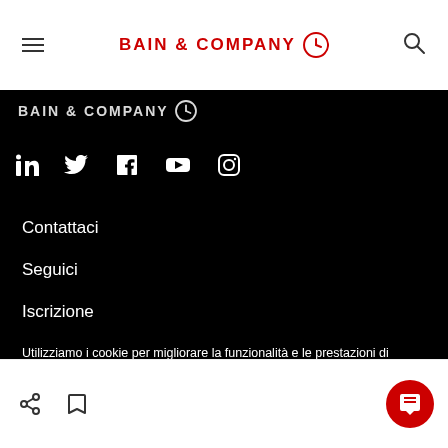BAIN & COMPANY
[Figure (logo): Bain & Company logo with clock icon in white on black background (partial, footer area)]
[Figure (infographic): Social media icons: LinkedIn, Twitter, Facebook, YouTube, Instagram in white on black background]
Contattaci
Seguici
Iscrizione
Utilizziamo i cookie per migliorare la funzionalità e le prestazioni di questo sito.
ACCETTA TUTTI I COOKIE